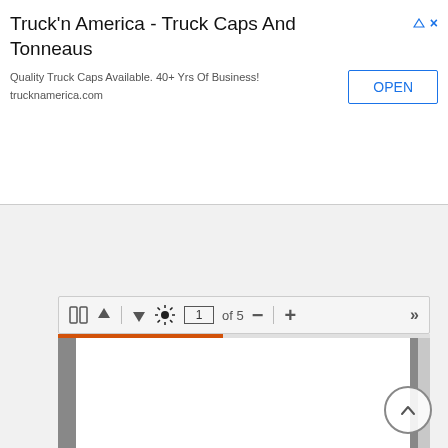[Figure (screenshot): Web browser screenshot showing an advertisement banner for Truck'n America - Truck Caps And Tonneaus with an OPEN button, a collapse tab with up arrow, a PDF viewer toolbar showing page 1 of 5 with navigation controls, an orange progress bar, and a partial PDF page view with a scroll-to-top circular button.]
Truck'n America - Truck Caps And Tonneaus
Quality Truck Caps Available. 40+ Yrs Of Business!
trucknamerica.com